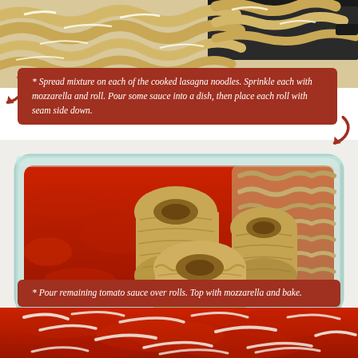[Figure (photo): Top-down view of cooked lasagna noodles spread flat on a dark baking sheet, topped with white mozzarella shreds]
* Spread mixture on each of the cooked lasagna noodles. Sprinkle each with mozzarella and roll. Pour some sauce into a dish, then place each roll with seam side down.
[Figure (photo): Glass baking dish with red tomato sauce and rolled lasagna noodle rolls placed seam side down]
* Pour remaining tomato sauce over rolls. Top with mozzarella and bake.
[Figure (photo): Close-up of finished lasagna rolls covered in red tomato sauce and shredded mozzarella cheese, ready to bake]